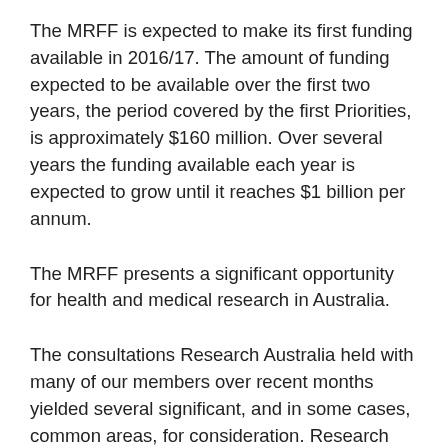The MRFF is expected to make its first funding available in 2016/17. The amount of funding expected to be available over the first two years, the period covered by the first Priorities, is approximately $160 million. Over several years the funding available each year is expected to grow until it reaches $1 billion per annum.
The MRFF presents a significant opportunity for health and medical research in Australia.
The consultations Research Australia held with many of our members over recent months yielded several significant, and in some cases, common areas, for consideration. Research Australia will be sending out an overview of those consultations to all members in due course.